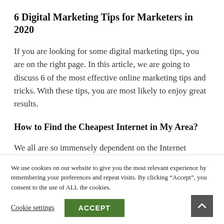6 Digital Marketing Tips for Marketers in 2020
If you are looking for some digital marketing tips, you are on the right page. In this article, we are going to discuss 6 of the most effective online marketing tips and tricks. With these tips, you are most likely to enjoy great results.
How to Find the Cheapest Internet in My Area?
We all are so immensely dependent on the Internet
We use cookies on our website to give you the most relevant experience by remembering your preferences and repeat visits. By clicking “Accept”, you consent to the use of ALL the cookies.
Cookie settings   ACCEPT